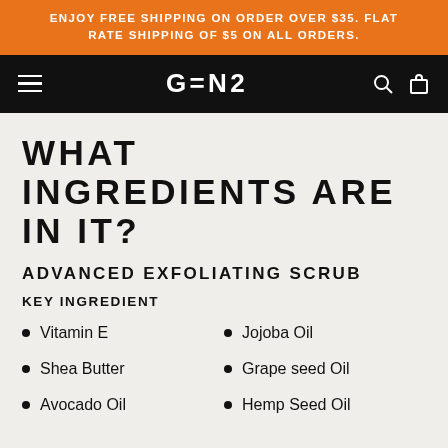ENJOY FREE SHIPPING ON ORDER OVER $35. FLAT RATE SHIPPING OF $5 ON ALL ORDERS.
GEN2
WHAT INGREDIENTS ARE IN IT?
ADVANCED EXFOLIATING SCRUB
KEY INGREDIENT
Vitamin E
Jojoba Oil
Shea Butter
Grape seed Oil
Avocado Oil
Hemp Seed Oil